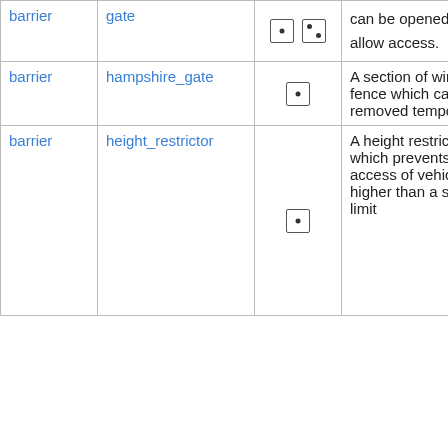| Key | Value | Icon | Description |  |
| --- | --- | --- | --- | --- |
| barrier | gate | [icon: single dot + two dot] | can be opened to allow access. | • |
| barrier | hampshire_gate | [icon: single dot] | A section of wire fence which can be removed temporarily. |  |
| barrier | height_restrictor | [icon: single dot] | A height restrictor which prevents access of vehicles higher than a set limit |  |